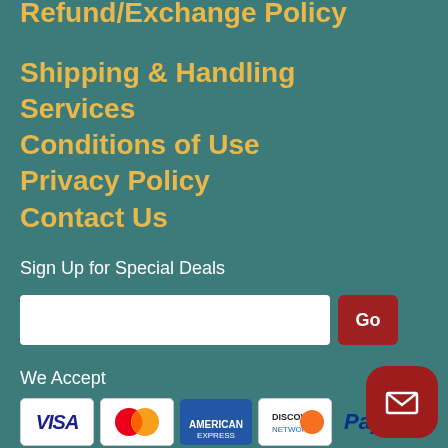Refund/Exchange Policy
Shipping & Handling
Services
Conditions of Use
Privacy Policy
Contact Us
Sign Up for Special Deals
We Accept
[Figure (illustration): Payment method icons: Visa, MasterCard, American Express, Discover, PayPal]
[Figure (illustration): Red rounded mail/envelope icon button]